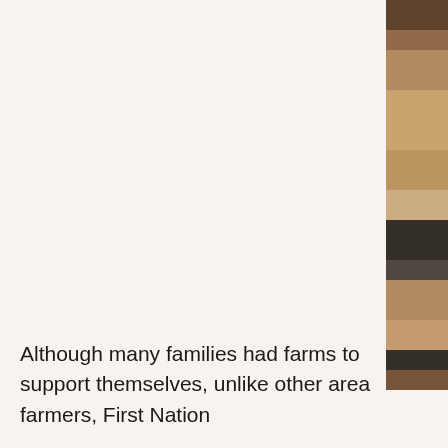[Figure (photo): Partial view of a person in a photograph, cropped on the right edge of the page, showing clothing and partial body.]
Although many families had farms to support themselves, unlike other area farmers, First Nation